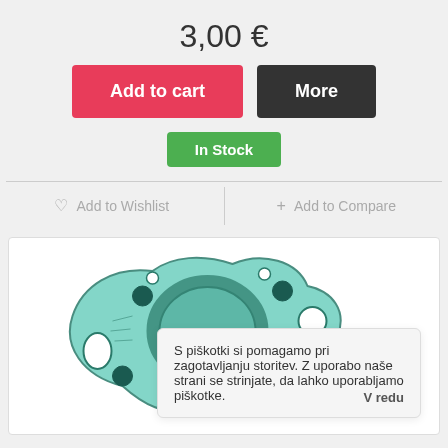3,00 €
Add to cart
More
In Stock
Add to Wishlist
Add to Compare
[Figure (photo): A green engine gasket / cylinder head gasket with multiple holes, partially visible, on a white background.]
S piškotki si pomagamo pri zagotavljanju storitev. Z uporabo naše strani se strinjate, da lahko uporabljamo piškotke. V redu